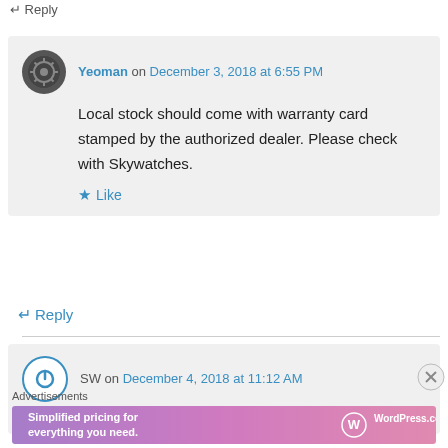↵ Reply
Yeoman on December 3, 2018 at 6:55 PM
Local stock should come with warranty card stamped by the authorized dealer. Please check with Skywatches.
★ Like
↵ Reply
SW on December 4, 2018 at 11:12 AM
Advertisements
[Figure (infographic): WordPress.com advertisement banner: 'Simplified pricing for everything you need.' with WordPress.com logo on gradient purple-pink background]